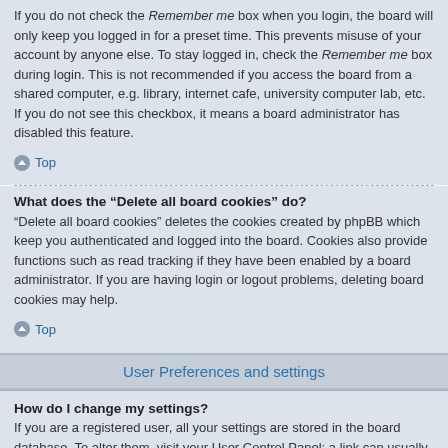If you do not check the Remember me box when you login, the board will only keep you logged in for a preset time. This prevents misuse of your account by anyone else. To stay logged in, check the Remember me box during login. This is not recommended if you access the board from a shared computer, e.g. library, internet cafe, university computer lab, etc. If you do not see this checkbox, it means a board administrator has disabled this feature.
Top
What does the “Delete all board cookies” do?
“Delete all board cookies” deletes the cookies created by phpBB which keep you authenticated and logged into the board. Cookies also provide functions such as read tracking if they have been enabled by a board administrator. If you are having login or logout problems, deleting board cookies may help.
Top
User Preferences and settings
How do I change my settings?
If you are a registered user, all your settings are stored in the board database. To alter them, visit your User Control Panel; a link can usually be found by clicking on your username at the top of board pages. This system will allow you to change all your settings and preferences.
Top